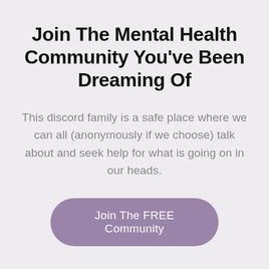Join The Mental Health Community You've Been Dreaming Of
This discord family is a safe place where we can all (anonymously if we choose) talk about and seek help for what is going on in our heads.
Join The FREE Community